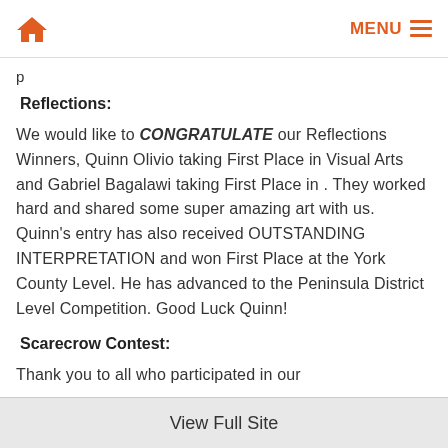Home | MENU
p
Reflections:
We would like to CONGRATULATE our Reflections Winners, Quinn Olivio taking First Place in Visual Arts and Gabriel Bagalawi taking First Place in . They worked hard and shared some super amazing art with us. Quinn's entry has also received OUTSTANDING INTERPRETATION and won First Place at the York County Level. He has advanced to the Peninsula District Level Competition. Good Luck Quinn!
Scarecrow Contest:
Thank you to all who participated in our
View Full Site